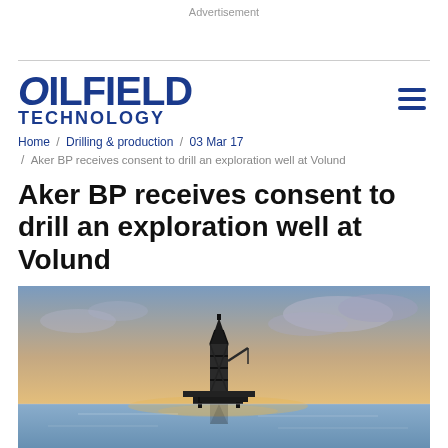Advertisement
[Figure (logo): Oilfield Technology magazine logo in dark blue bold text]
Home / Drilling & production / 03 Mar 17 / Aker BP receives consent to drill an exploration well at Volund
Aker BP receives consent to drill an exploration well at Volund
[Figure (photo): Offshore oil drilling rig/platform silhouetted against a sunset sky over calm water]